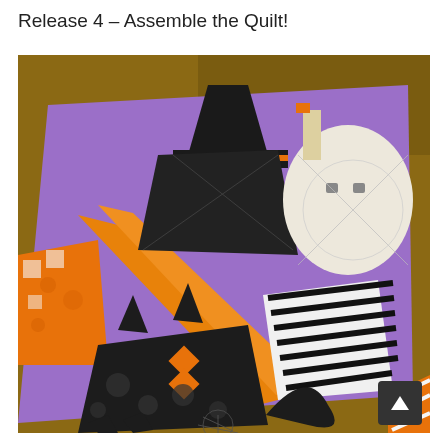Release 4 – Assemble the Quilt!
[Figure (photo): A Halloween-themed quilt laid on a wooden table, featuring a purple background with black cats, a witch, a ghost, orange pumpkin blocks, and black-and-white striped and spiderweb fabric accents.]